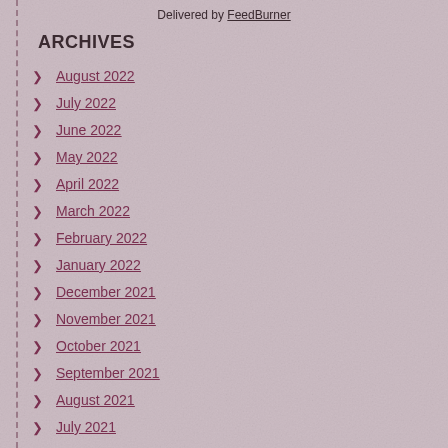Delivered by FeedBurner
ARCHIVES
August 2022
July 2022
June 2022
May 2022
April 2022
March 2022
February 2022
January 2022
December 2021
November 2021
October 2021
September 2021
August 2021
July 2021
June 2021
May 2021
April 2021
March 2021